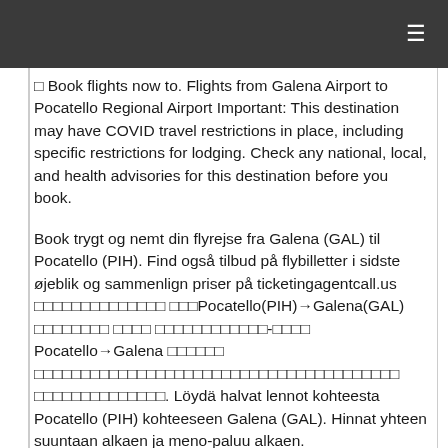≡
□ Book flights now to. Flights from Galena Airport to Pocatello Regional Airport Important: This destination may have COVID travel restrictions in place, including specific restrictions for lodging. Check any national, local, and health advisories for this destination before you book.
Book trygt og nemt din flyrejse fra Galena (GAL) til Pocatello (PIH). Find også tilbud på flybilletter i sidste øjeblik og sammenlign priser på ticketingagentcall.us □□□□□□□□□□□□□□ □□□Pocatello(PIH)→Galena(GAL) □□□□□□□□ □□□□ □□□□□□□□□□□□-□□□□ Pocatello→Galena □□□□□□ □□□□□□□□□□□□□□□□□□□□□□□□□□□□□□□□□□□□□□□ □□□□□□□□□□□□□□. Löydä halvat lennot kohteesta Pocatello (PIH) kohteeseen Galena (GAL). Hinnat yhteen suuntaan alkaen ja meno-paluu alkaen.